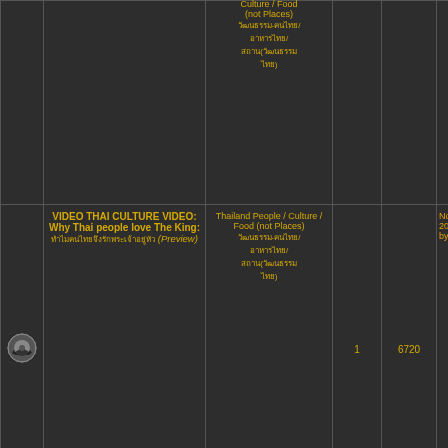|  | Topic | Forum | Replies | Views | Last Post |
| --- | --- | --- | --- | --- | --- |
| [icon] | Culture / Food (not Places) [thai] [thai] [thai]([thai]) |  |  |  |  |
| [icon] | VIDEO THAI CULTURE VIDEO: Why Thai people love The King: [thai] [thai] (Preview) | Thailand People / Culture / Food (not Places) [thai]-[thai]/[thai]/[thai]([thai]) | 1 | 6720 | Nov 14, 2009 by wanphe... |
| [icon] | video song thai culture Isaan VDO : [thai] [thai] (Preview) | East [thai] | 0 | 2786 | Oct 18, 2009 by wanphe... |
| [icon] | thai culture loy krathong lanna chiang mai LANNA: Chiang Mai: Loy Krathong Festival OR Yi Peng Festival. (Preview) | North [thai] | 1 | 3983 | Nov 7, 2009 by Sawasdee... |
| [icon] | thai love thai objects thai culture relationships " Sin-Sod " The first step to marry Thai girl (Preview) | Thailand People / Culture / Food (not Places) [thai]-[thai]/[thai]/[thai]([thai]) | 2 | 5684 | Nov 28, 2010 by OzThai... |